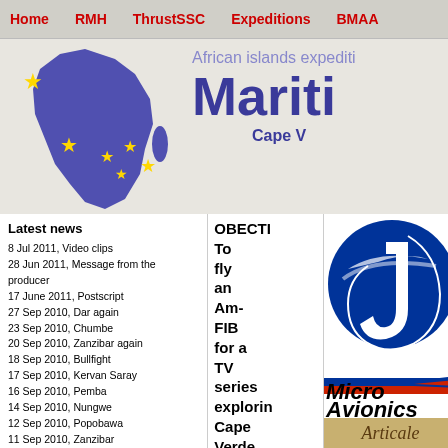Home | RMH | ThrustSSC | Expeditions | BMAA
[Figure (illustration): Purple silhouette map of Africa with yellow stars, alongside 'African islands expediti... Maritime... Cape V...' header text]
Latest news
8 Jul 2011, Video clips
28 Jun 2011, Message from the producer
17 June 2011, Postscript
27 Sep 2010, Dar again
23 Sep 2010, Chumbe
20 Sep 2010, Zanzibar again
18 Sep 2010, Bullfight
17 Sep 2010, Kervan Saray
16 Sep 2010, Pemba
14 Sep 2010, Nungwe
12 Sep 2010, Popobawa
11 Sep 2010, Zanzibar
9 Sep 2010, Teddy Junior
26 Aug 2010, Ursula
26 July 2010, Home
17 Jul 2010, Just in time
15 Jul 2010, No wind
13 Jul 2010, Mindelo again
11 Jul 2010, Groque
OBECTI To fly an Am-FIB for a TV series exploring Cape Verde Islands,
[Figure (logo): JPI blue circular logo with large white J]
[Figure (logo): Micro Avionics logo with stylized aircraft stripe]
[Figure (illustration): Tan/gold decorative background with italic script text]